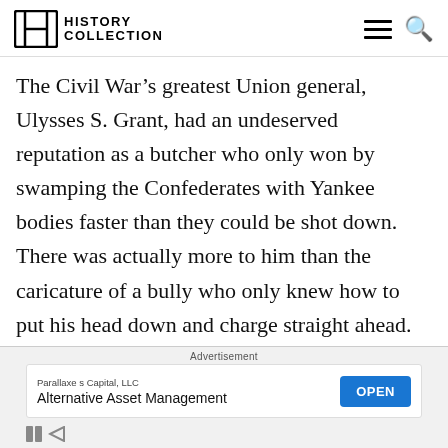HISTORY COLLECTION
The Civil War’s greatest Union general, Ulysses S. Grant, had an undeserved reputation as a butcher who only won by swamping the Confederates with Yankee bodies faster than they could be shot down. There was actually more to him than the caricature of a bully who only knew how to put his head down and charge straight ahead. Grant’s 1863 Vicksburg Campaign, for example, was a
Advertisement
Parallaxe s Capital, LLC
Alternative Asset Management
OPEN